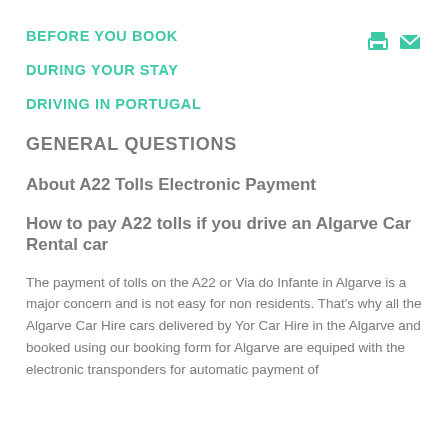BEFORE YOU BOOK
DURING YOUR STAY
DRIVING IN PORTUGAL
GENERAL QUESTIONS
About A22 Tolls Electronic Payment
How to pay A22 tolls if you drive an Algarve Car Rental car
The payment of tolls on the A22 or Via do Infante in Algarve is a major concern and is not easy for non residents. That's why all the Algarve Car Hire cars delivered by Yor Car Hire in the Algarve and booked using our booking form for Algarve are equiped with the electronic transponders for automatic payment of